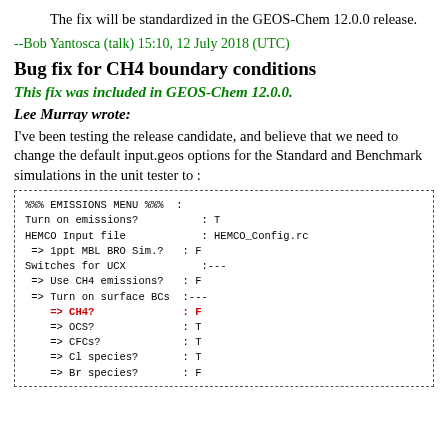The fix will be standardized in the GEOS-Chem 12.0.0 release.
--Bob Yantosca (talk) 15:10, 12 July 2018 (UTC)
Bug fix for CH4 boundary conditions
This fix was included in GEOS-Chem 12.0.0.
Lee Murray wrote:
I’ve been testing the release candidate, and believe that we need to change the default input.geos options for the Standard and Benchmark simulations in the unit tester to :
%%% EMISSIONS MENU %%% :
Turn on emissions?          : T
HEMCO Input file            : HEMCO_Config.rc
 => 1ppt MBL BRO Sim.?   : F
Switches for UCX            :---
 => Use CH4 emissions?   : F
 => Turn on surface BCs  :---
    => CH4?              : F
    => OCS?              : T
    => CFCs?             : T
    => Cl species?       : T
    => Br species?       : F